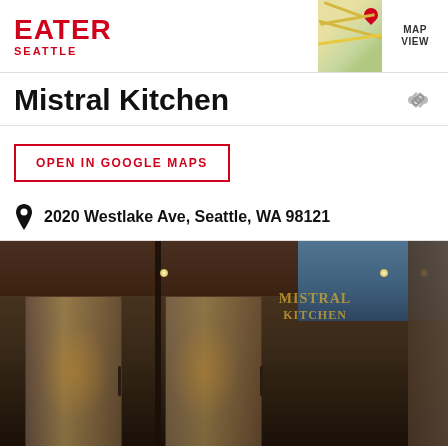EATER SEATTLE
Mistral Kitchen
OPEN IN GOOGLE MAPS
2020 Westlake Ave, Seattle, WA 98121
[Figure (photo): Exterior photo of Mistral Kitchen restaurant entrance, showing glass doors with warm interior lighting and a sign on the window, dark moody atmosphere]